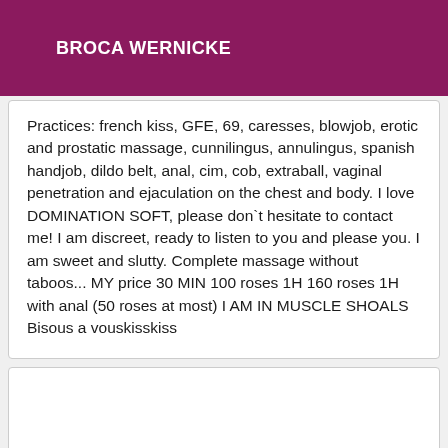BROCA WERNICKE
Practices: french kiss, GFE, 69, caresses, blowjob, erotic and prostatic massage, cunnilingus, annulingus, spanish handjob, dildo belt, anal, cim, cob, extraball, vaginal penetration and ejaculation on the chest and body. I love DOMINATION SOFT, please don`t hesitate to contact me! I am discreet, ready to listen to you and please you. I am sweet and slutty. Complete massage without taboos... MY price 30 MIN 100 roses 1H 160 roses 1H with anal (50 roses at most) I AM IN MUSCLE SHOALS Bisous a vouskisskiss